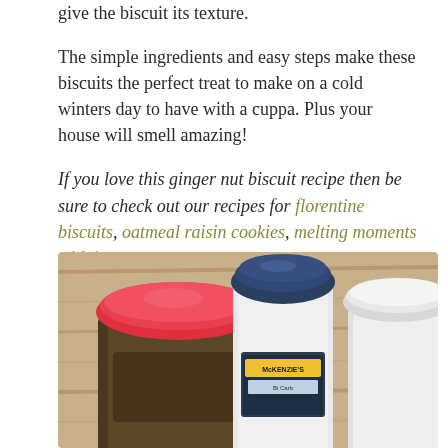give the biscuit its texture.
The simple ingredients and easy steps make these biscuits the perfect treat to make on a cold winters day to have with a cuppa. Plus your house will smell amazing!
If you love this ginger nut biscuit recipe then be sure to check out our recipes for florentine biscuits, oatmeal raisin cookies, melting moments with jam.
[Figure (photo): Photo of baking ingredients including a jar with a red lid, a bottle of McKenzie's Bi Carb Soda with a dark blue lid, and a white jar, arranged on a wooden surface.]